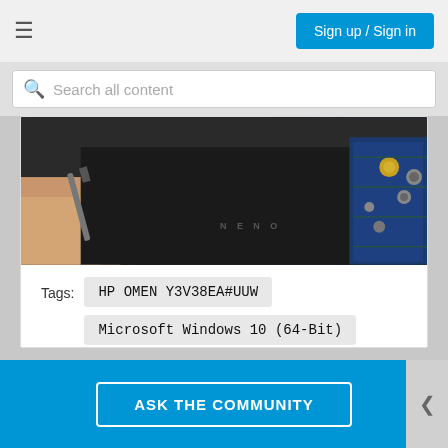Sign up / Sign in
Search all content
[Figure (photo): Close-up photo of laptop hardware internals showing circuit board with blue PCB and capacitors, and a hand holding a tool near a dark laptop chassis]
Tags: HP OMEN Y3V38EA#UUW
Microsoft Windows 10 (64-Bit)
View All (2)
I HAVE THE SAME QUESTION
ASK THE COMMUNITY